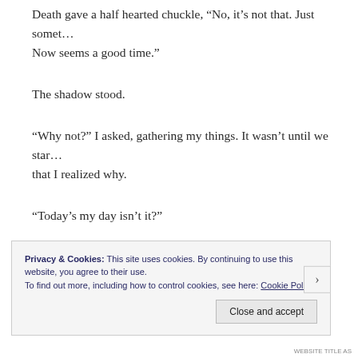Death gave a half hearted chuckle, “No, it’s not that. Just somet… Now seems a good time.”
The shadow stood.
“Why not?” I asked, gathering my things. It wasn’t until we star… that I realized why.
“Today’s my day isn’t it?”
The shadow seemed to avoid my gaze, “…You never asked befo…
Privacy & Cookies: This site uses cookies. By continuing to use this website, you agree to their use.
To find out more, including how to control cookies, see here: Cookie Policy
Close and accept